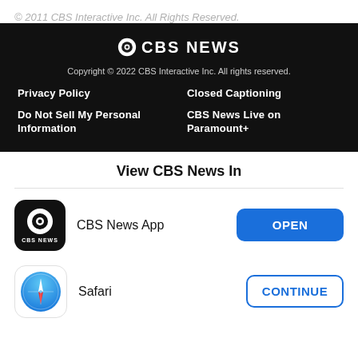© 2011 CBS Interactive Inc. All Rights Reserved.
[Figure (logo): CBS News logo with eye icon and text CBS NEWS on dark background]
Copyright © 2022 CBS Interactive Inc. All rights reserved.
Privacy Policy
Closed Captioning
Do Not Sell My Personal Information
CBS News Live on Paramount+
View CBS News In
CBS News App
OPEN
Safari
CONTINUE